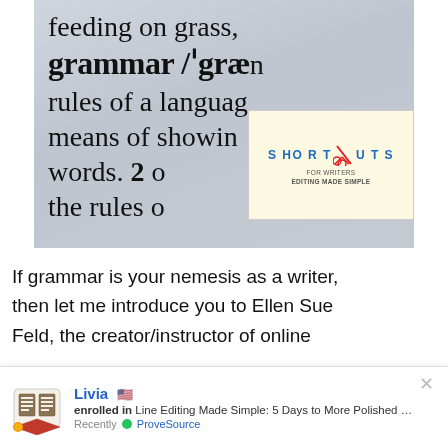[Figure (photo): Close-up photo of a dictionary page showing the word 'grammar' with its definition beginning, overlaid with the Shortcuts for Writers logo in the lower right corner of the image.]
If grammar is your nemesis as a writer, then let me introduce you to Ellen Sue Feld, the creator/instructor of online
Livia 🇺🇸 enrolled in Line Editing Made Simple: 5 Days to More Polished Pages Recently ✅ ProveSource